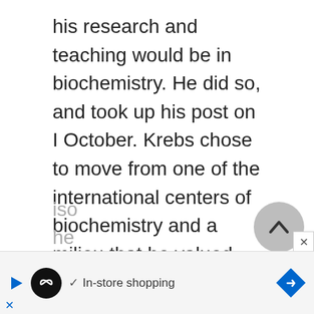his research and teaching would be in biochemistry. He did so, and took up his post on I October. Krebs chose to move from one of the international centers of biochemistry and a milieu that he valued highly, where he benefited from the intellectual stimulation of colleagues working on problems closely related to his own, to a small provincial university in a sooty industrial town, where he would be iso... he...